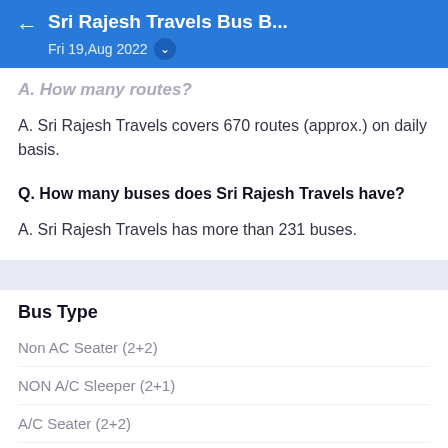Sri Rajesh Travels Bus B... — Fri 19,Aug 2022
A. Sri Rajesh Travels covers 670 routes (approx.) on daily basis.
Q. How many buses does Sri Rajesh Travels have?
A. Sri Rajesh Travels has more than 231 buses.
Bus Type
Non AC Seater (2+2)
NON A/C Sleeper (2+1)
A/C Seater (2+2)
A/C Sleeper (2+1)